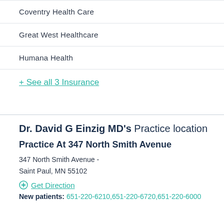Coventry Health Care
Great West Healthcare
Humana Health
+ See all 3 Insurance
Dr. David G Einzig MD's Practice location
Practice At 347 North Smith Avenue
347 North Smith Avenue -
Saint Paul, MN 55102
Get Direction
New patients: 651-220-6210,651-220-6720,651-220-6000